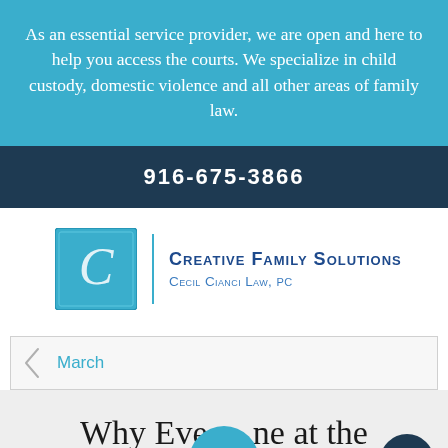As an essential service provider, we are open and here to help you access the courts. We specialize in child custody, domestic violence and all other areas of family law.
916-675-3866
[Figure (logo): Creative Family Solutions / Cecil Cianci Law, PC logo with stylized C icon in blue square]
March
Why Everyone at the Surrogacy Table Needs